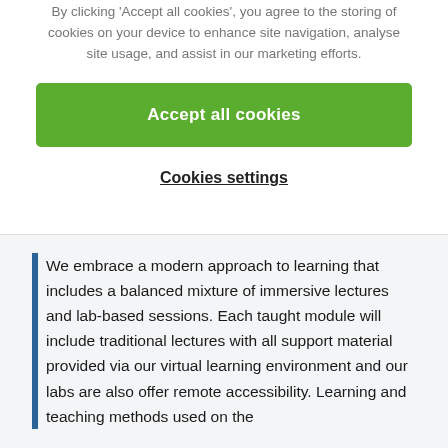By clicking 'Accept all cookies', you agree to the storing of cookies on your device to enhance site navigation, analyse site usage, and assist in our marketing efforts.
[Figure (other): Green 'Accept all cookies' button]
Cookies settings
We embrace a modern approach to learning that includes a balanced mixture of immersive lectures and lab-based sessions. Each taught module will include traditional lectures with all support material provided via our virtual learning environment and our labs are also offer remote accessibility. Learning and teaching methods used on the